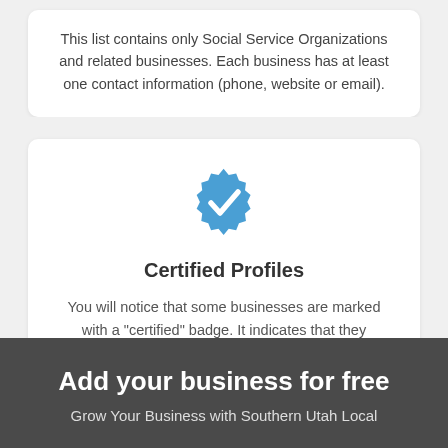This list contains only Social Service Organizations and related businesses. Each business has at least one contact information (phone, website or email).
[Figure (illustration): Blue verified/certified badge icon with a white checkmark in the center, resembling a social media verified badge with a rounded star/badge shape.]
Certified Profiles
You will notice that some businesses are marked with a "certified" badge. It indicates that they claimed their profile and were certified by ActionLocal.
Add your business for free
Grow Your Business with Southern Utah Local